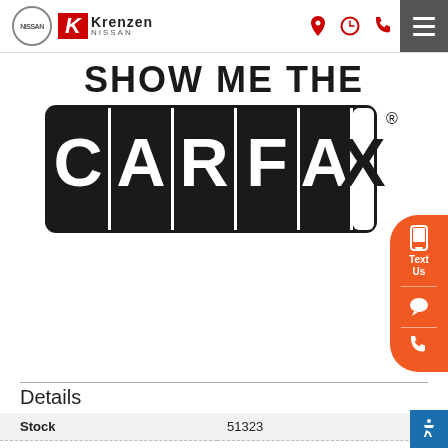[Figure (logo): Krenzen Nissan dealership website header with Nissan logo, Krenzen Nissan logo, navigation icons (location, clock, phone), and hamburger menu]
[Figure (logo): CARFAX logo with 'SHOW ME THE' text above it]
Details
| Field | Value |
| --- | --- |
| Stock | 51323 |
| VIN | 5UXTR9C53KLD94577 |
| Dealer | Krenzen Nissan |